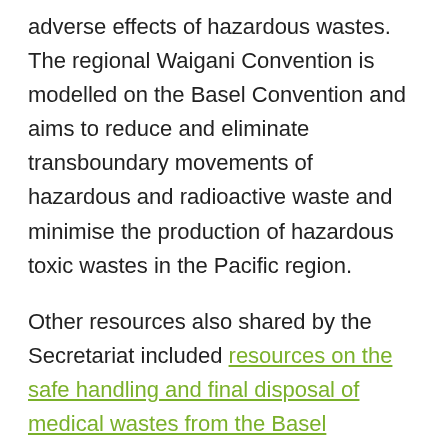adverse effects of hazardous wastes. The regional Waigani Convention is modelled on the Basel Convention and aims to reduce and eliminate transboundary movements of hazardous and radioactive waste and minimise the production of hazardous toxic wastes in the Pacific region.
Other resources also shared by the Secretariat included resources on the safe handling and final disposal of medical wastes from the Basel Convention's Regional Centre for Asia and the Pacific, as well as a factsheet on the management of medical waste during COVID-19 which has been developed by the EU-funded Pacific Waste Management Programme (PacWastePlus).
Household waste is also likely to be critical during the